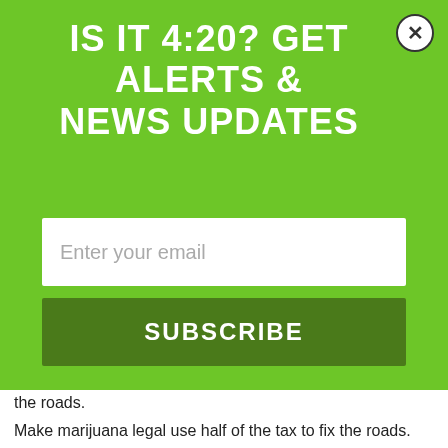IS IT 4:20? GET ALERTS & NEWS UPDATES
Enter your email
SUBSCRIBE
the roads.
Make marijuana legal use half of the tax to fix the roads.
Log in to leave a comment
LEAVE A REPLY
Log in to leave a comment